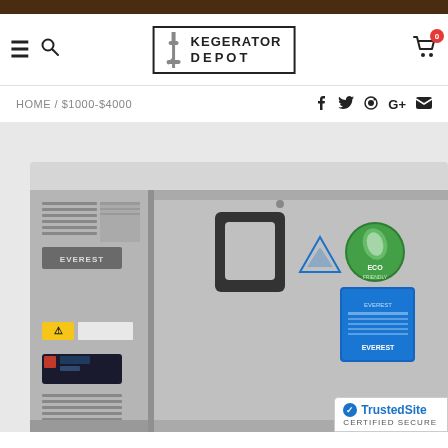Kegerator Depot navigation header with hamburger menu, search, logo, and cart (0)
HOME / $1000-$4000
[Figure (photo): Commercial under-counter refrigerator unit with stainless steel door, EVEREST brand, featuring a black handle, control panel on left side, ventilation grill, yellow warning label, digital display, ECO friendly sticker, and EVEREST logo sticker.]
TrustedSite CERTIFIED SECURE